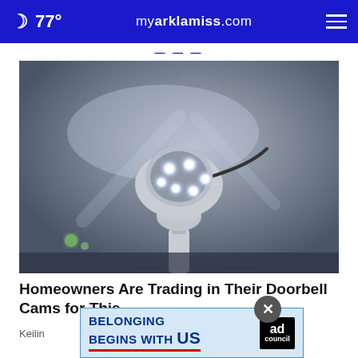🌙 77°  myarklamiss.com  ☰
[Figure (photo): Close-up photo of a white outdoor security/spotlight camera with multiple bright LED lights glowing, mounted on a pole, against a blurred dark background]
Homeowners Are Trading in Their Doorbell Cams for This
Keilin
[Figure (infographic): Advertisement banner: 'BELONGING BEGINS WITH US' with Ad Council logo, on light blue background with blue border]